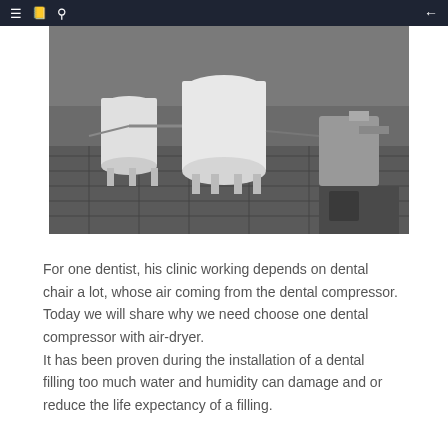≡  📋  🔍  ←
[Figure (photo): Industrial dental compressor tanks on a factory or warehouse floor with metal grating and equipment visible in the background.]
For one dentist, his clinic working depends on dental chair a lot, whose air coming from the dental compressor. Today we will share why we need choose one dental compressor with air-dryer.
It has been proven during the installation of a dental filling too much water and humidity can damage and or reduce the life expectancy of a filling.